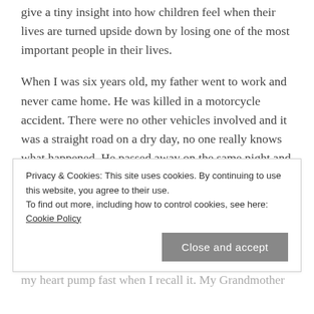give a tiny insight into how children feel when their lives are turned upside down by losing one of the most important people in their lives.
When I was six years old, my father went to work and never came home. He was killed in a motorcycle accident. There were no other vehicles involved and it was a straight road on a dry day, no one really knows what happened. He passed away on the same night and I was woken up in the morning by my mother sitting on my bed. She told me that Daddy had been in an accident and he wasn't coming back
Privacy & Cookies: This site uses cookies. By continuing to use this website, you agree to their use. To find out more, including how to control cookies, see here: Cookie Policy
Close and accept
my heart pump fast when I recall it. My Grandmother